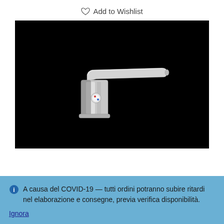Add to Wishlist
[Figure (photo): Chrome bathroom faucet/tap on black background]
A causa del COVID-19 — tutti ordini potranno subire ritardi nel elaborazione e consegne, previa verifica disponibilità. Ignora